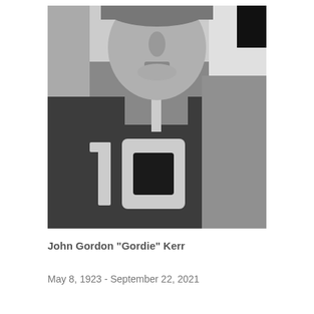[Figure (photo): Black and white photograph of a man wearing a sports jersey with the number 10, cropped to show chest and face from nose down.]
John Gordon "Gordie" Kerr
May 8, 1923 - September 22, 2021